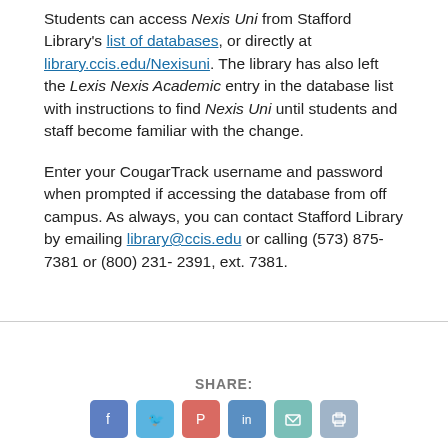Students can access Nexis Uni from Stafford Library's list of databases, or directly at library.ccis.edu/Nexisuni. The library has also left the Lexis Nexis Academic entry in the database list with instructions to find Nexis Uni until students and staff become familiar with the change.
Enter your CougarTrack username and password when prompted if accessing the database from off campus. As always, you can contact Stafford Library by emailing library@ccis.edu or calling (573) 875-7381 or (800) 231-2391, ext. 7381.
SHARE: